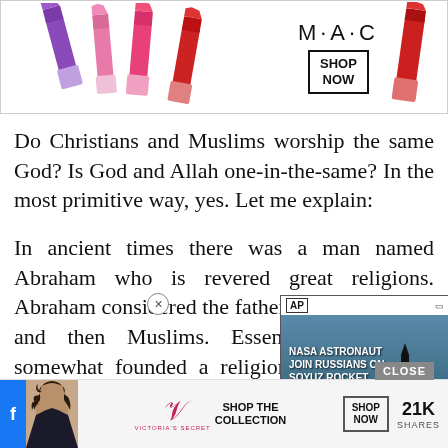read a… tion in the m…
[Figure (advertisement): MAC cosmetics advertisement showing lipsticks in purple, pink, and red, with MAC logo and SHOP NOW button in a rectangular box.]
Do Christians and Muslims worship the same God? Is God and Allah one-in-the-same? In the most primitive way, yes. Let me explain:
In ancient times there was a man named Abraham who is revered great religions. Abraham considered the father of well as Arabs and then Muslims. Essentially, Abraham somewhat founded a religion that went into three different streams Judaism
[Figure (screenshot): AP video overlay showing NASA ASTRONAUT JOIN RUSSIANS ON SOYUZ ROCKET with play button, over a background image of a rocket launch.]
[Figure (advertisement): Victoria's Secret advertisement with model photo, Shop the Collection text, Shop Now button, and 21K Shares indicator. Facebook share button on the left.]